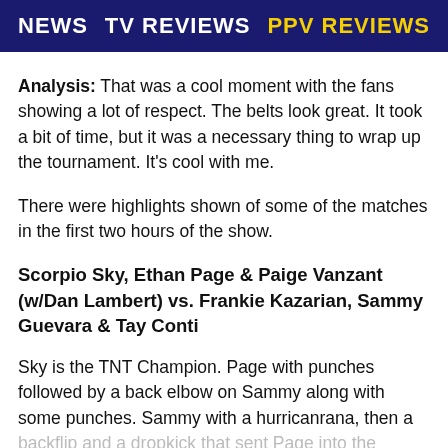NEWS   TV REVIEWS   PPV REVIEWS
Analysis: That was a cool moment with the fans showing a lot of respect. The belts look great. It took a bit of time, but it was a necessary thing to wrap up the tournament. It’s cool with me.
There were highlights shown of some of the matches in the first two hours of the show.
Scorpio Sky, Ethan Page & Paige Vanzant (w/Dan Lambert) vs. Frankie Kazarian, Sammy Guevara & Tay Conti
Sky is the TNT Champion. Page with punches followed by a back elbow on Sammy along with some punches. Sammy with a hurricanrana, then a backflip and a dropkick that sent Page into the corner. Page hit a press powerslam for a two count.